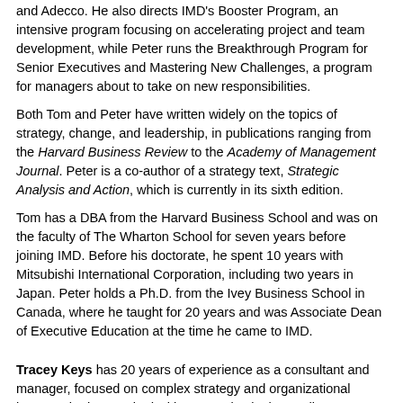and Adecco. He also directs IMD's Booster Program, an intensive program focusing on accelerating project and team development, while Peter runs the Breakthrough Program for Senior Executives and Mastering New Challenges, a program for managers about to take on new responsibilities.
Both Tom and Peter have written widely on the topics of strategy, change, and leadership, in publications ranging from the Harvard Business Review to the Academy of Management Journal. Peter is a co-author of a strategy text, Strategic Analysis and Action, which is currently in its sixth edition.
Tom has a DBA from the Harvard Business School and was on the faculty of The Wharton School for seven years before joining IMD. Before his doctorate, he spent 10 years with Mitsubishi International Corporation, including two years in Japan. Peter holds a Ph.D. from the Ivey Business School in Canada, where he taught for 20 years and was Associate Dean of Executive Education at the time he came to IMD.
Tracey Keys has 20 years of experience as a consultant and manager, focused on complex strategy and organizational issues. She has worked with companies in the media, consumer goods, finance, and new media sectors across Europe, the U.S., and Africa. Previously, Tracey has held senior roles at the BBC, where she was Head of Corporate Planning, Booz Allen Hamilton, and Deloitte & Touche/Braxton Associates. She has also been an active advisor to start-ups, several of which have been launched successfully in the technology, publishing, wine and consulting